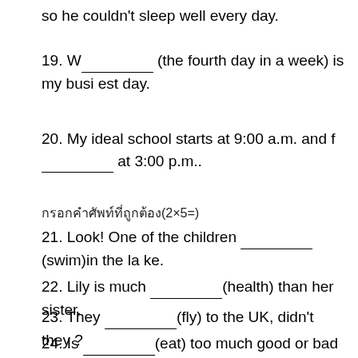so he couldn't sleep well every day.
19. W__________ (the fourth day in a week) is my busiest day.
20. My ideal school starts at 9:00 a.m. and f_________ at 3:00 p.m..
กรอกคำศัพท์ที่ถูกต้อง(2×5=)
21. Look! One of the children __________(swim)in the lake.
22. Lily is much __________(health) than her sister.
23. They _________(fly) to the UK, didn't they ?
24. Is _________(eat) too much good or bad for your body?